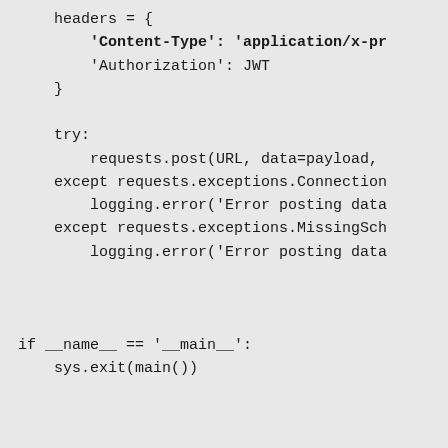headers = {
        'Content-Type': 'application/x-pr
        'Authorization': JWT
    }

    try:
        requests.post(URL, data=payload,
    except requests.exceptions.Connection
        logging.error('Error posting data
    except requests.exceptions.MissingSch
        logging.error('Error posting data


if __name__ == '__main__':
    sys.exit(main())